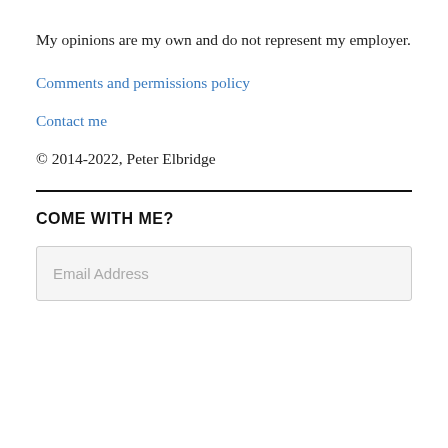My opinions are my own and do not represent my employer.
Comments and permissions policy
Contact me
© 2014-2022, Peter Elbridge
COME WITH ME?
Email Address